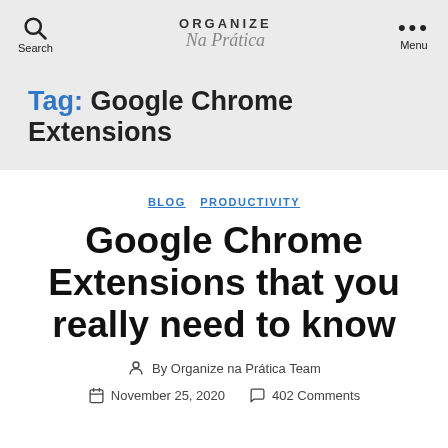ORGANIZE Na Prática — Search — Menu
Tag: Google Chrome Extensions
BLOG  PRODUCTIVITY
Google Chrome Extensions that you really need to know
By Organize na Prática Team
November 25, 2020   402 Comments